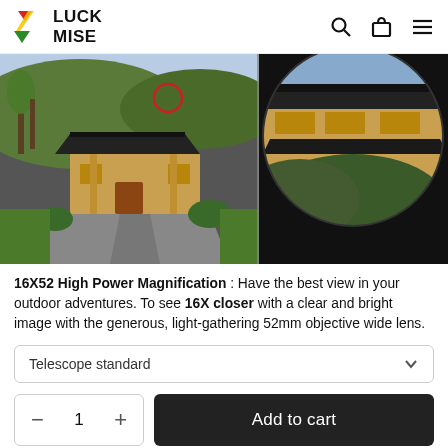LUCK MISE
[Figure (photo): Two-panel product demonstration photo: left panel shows wide-angle view of a traditional Chinese building with a red circle marking a distant subject; right panel shows the same building zoomed in 16x through the binocular lens, circular vignette crop.]
16X52 High Power Magnification : Have the best view in your outdoor adventures. To see 16X closer with a clear and bright image with the generous, light-gathering 52mm objective wide lens.
Telescope standard
− 1 + Add to cart